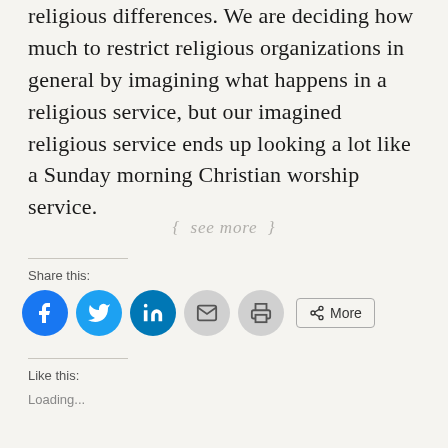religious differences. We are deciding how much to restrict religious organizations in general by imagining what happens in a religious service, but our imagined religious service ends up looking a lot like a Sunday morning Christian worship service.
{ see more }
Share this:
[Figure (other): Social sharing icons: Facebook, Twitter, LinkedIn, Email, Print buttons and a More button]
Like this:
Loading...